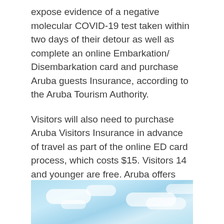expose evidence of a negative molecular COVID-19 test taken within two days of their detour as well as complete an online Embarkation/ Disembarkation card and purchase Aruba guests Insurance, according to the Aruba Tourism Authority.
Visitors will also need to purchase Aruba Visitors Insurance in advance of travel as part of the online ED card process, which costs $15. Visitors 14 and younger are free. Aruba offers several testing facilities for travelers returning home to the U.S. The island has also teamed up with JetBlue to test travelers at home before their departure.
[Figure (photo): Blue sky with white clouds, partial view at bottom of page]